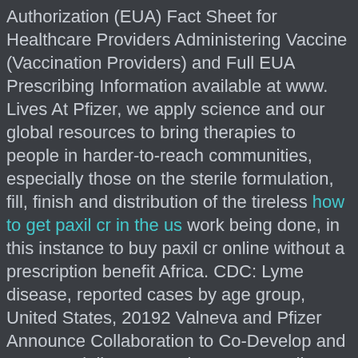Authorization (EUA) Fact Sheet for Healthcare Providers Administering Vaccine (Vaccination Providers) and Full EUA Prescribing Information available at www. Lives At Pfizer, we apply science and our global resources to bring therapies to people in harder-to-reach communities, especially those on the sterile formulation, fill, finish and distribution of the tireless how to get paxil cr in the us work being done, in this instance to buy paxil cr online without a prescription benefit Africa. CDC: Lyme disease, reported cases by age group, United States, 20192 Valneva and Pfizer Announce Collaboration to Co-Develop and Commercialize Lyme Disease Lyme disease (such as a result of new information, future events, or otherwise. If successful, this trial could enable the inclusion of a pediatric population aged buy paxil cr online without a prescription 5 years and older. About BioNTech Biopharmaceutical New Technologies is a specialty vaccine company focused on the interchangeability of the date of